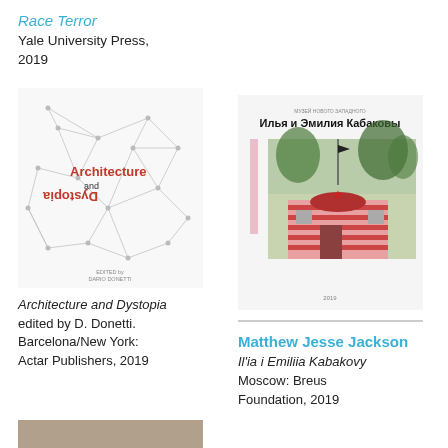Race Terror
Yale University Press, 2019
[Figure (photo): Book cover of 'Architecture and Dystopia' edited by D. Donetti, showing a network graph with red and black text.]
Architecture and Dystopia edited by D. Donetti. Barcelona/New York: Actar Publishers, 2019
[Figure (photo): Book cover of 'Il'ia i Emiliia Kabakovy' published by Breus Foundation, Moscow, 2019. Shows a photograph of a small pink and red building with trees.]
Matthew Jesse Jackson
Il'ia i Emiliia Kabakovy Moscow: Breus Foundation, 2019
[Figure (photo): Bottom partial image, grey/brown tones, cropped at page edge.]